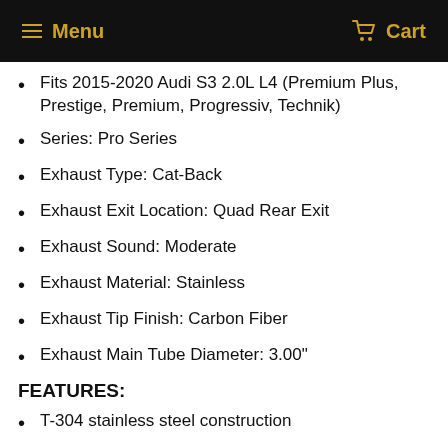Menu   Cart
Fits 2015-2020 Audi S3 2.0L L4 (Premium Plus, Prestige, Premium, Progressiv, Technik)
Series: Pro Series
Exhaust Type: Cat-Back
Exhaust Exit Location: Quad Rear Exit
Exhaust Sound: Moderate
Exhaust Material: Stainless
Exhaust Tip Finish: Carbon Fiber
Exhaust Main Tube Diameter: 3.00"
FEATURES:
T-304 stainless steel construction
Mandrel bent for increased exhaust flow
Tuned and dyno tested for sound and